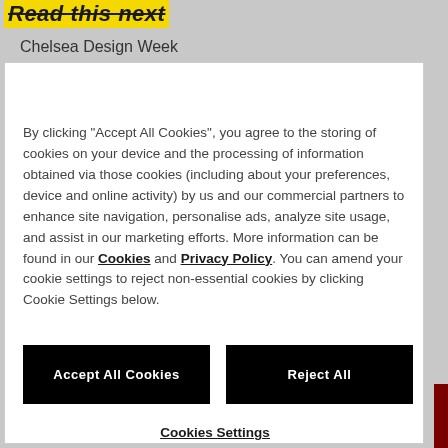Read this next
Chelsea Design Week
By clicking "Accept All Cookies", you agree to the storing of cookies on your device and the processing of information obtained via those cookies (including about your preferences, device and online activity) by us and our commercial partners to enhance site navigation, personalise ads, analyze site usage, and assist in our marketing efforts. More information can be found in our Cookies and Privacy Policy. You can amend your cookie settings to reject non-essential cookies by clicking Cookie Settings below.
Accept All Cookies
Reject All
Cookies Settings